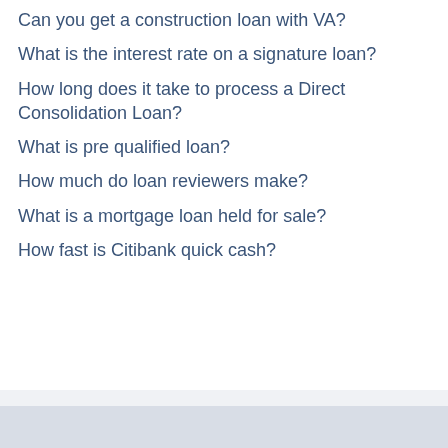Can you get a construction loan with VA?
What is the interest rate on a signature loan?
How long does it take to process a Direct Consolidation Loan?
What is pre qualified loan?
How much do loan reviewers make?
What is a mortgage loan held for sale?
How fast is Citibank quick cash?